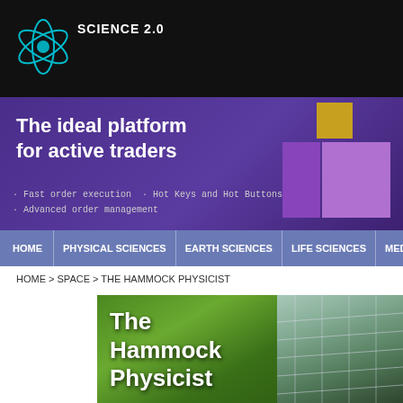SCIENCE 2.0
[Figure (illustration): Science 2.0 website header with atom logo on black background]
[Figure (illustration): Advertisement banner: The ideal platform for active traders. Fast order execution, Hot Keys and Hot Buttons, Advanced order management. Purple background with geometric shapes.]
HOME | PHYSICAL SCIENCES | EARTH SCIENCES | LIFE SCIENCES | MEDICINE
HOME > SPACE > THE HAMMOCK PHYSICIST
[Figure (photo): The Hammock Physicist blog header image with text over green leafy background and hammock]
LOFAR: A New Era In Radio Astronomy
By Johannes Koelman | June 13th 2010 12:21 PM | Print | E-mail